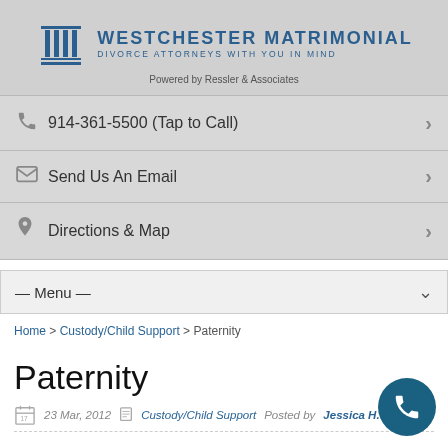[Figure (logo): Westchester Matrimonial logo with column icon, tagline 'Divorce Attorneys With You In Mind', powered by Ressler & Associates]
914-361-5500 (Tap to Call)
Send Us An Email
Directions & Map
— Menu —
Home > Custody/Child Support > Paternity
Paternity
23 Mar, 2012   Custody/Child Support   Posted by Jessica H. Ress...